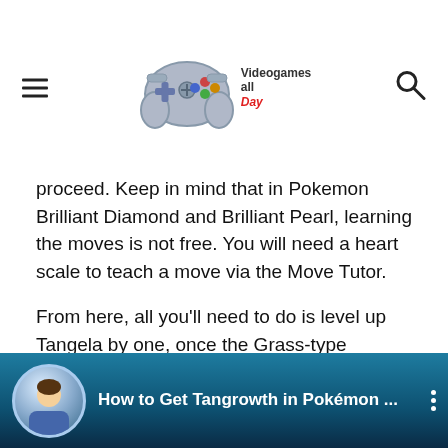Videogames all Day
proceed. Keep in mind that in Pokemon Brilliant Diamond and Brilliant Pearl, learning the moves is not free. You will need a heart scale to teach a move via the Move Tutor.
From here, all you'll need to do is level up Tangela by one, once the Grass-type Pokemon knows Ancient Power. Once Tangela has leveled up, he will become involved in Tangrowth.
Audio Video Come far evolvere Tangela in Tangrowth in Pokemon Brilliant Diamond e Shining Pearl
[Figure (screenshot): YouTube video thumbnail showing 'How to Get Tangrowth in Pokemon ...' with game character avatar and teal background with yellow bottom bar]